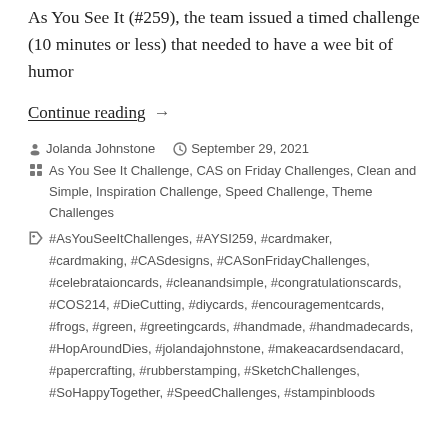As You See It (#259), the team issued a timed challenge (10 minutes or less) that needed to have a wee bit of humor
Continue reading →
Jolanda Johnstone   September 29, 2021
As You See It Challenge, CAS on Friday Challenges, Clean and Simple, Inspiration Challenge, Speed Challenge, Theme Challenges
#AsYouSeeItChallenges, #AYSI259, #cardmaker, #cardmaking, #CASdesigns, #CASonFridayChallenges, #celebrataioncards, #cleanandsimple, #congratulationscards, #COS214, #DieCutting, #diycards, #encouragementcards, #frogs, #green, #greetingcards, #handmade, #handmadecards, #HopAroundDies, #jolandajohnstone, #makeacardsendacard, #papercrafting, #rubberstamping, #SketchChallenges, #SoHappyTogether, #SpeedChallenges, #stampinbloods